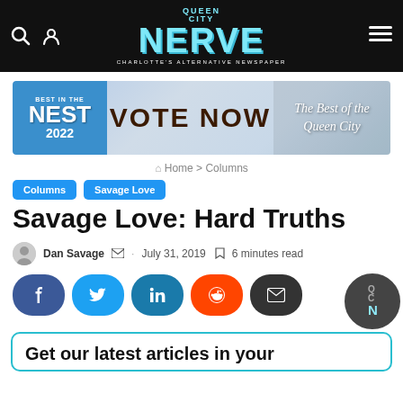Queen City NERVE — Charlotte's Alternative Newspaper
[Figure (infographic): Best in the Nest 2022 Vote Now — The Best of the Queen City banner advertisement]
Home > Columns
Columns
Savage Love
Savage Love: Hard Truths
Dan Savage · July 31, 2019 · 6 minutes read
[Figure (infographic): Social share buttons: Facebook, Twitter, LinkedIn, Reddit, Email]
Get our latest articles in your